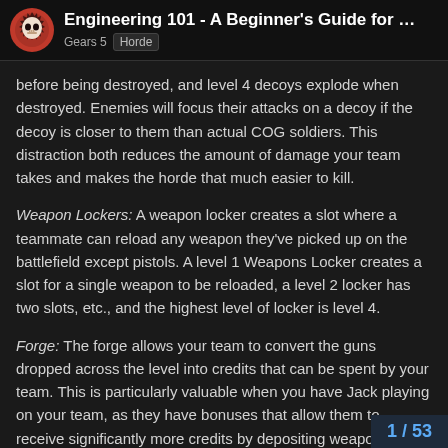Engineering 101 - A Beginner's Guide for Building B... | Gears 5 | Horde
before being destroyed, and level 4 decoys explode when destroyed. Enemies will focus their attacks on a decoy if the decoy is closer to them than actual COG soldiers. This distraction both reduces the amount of damage your team takes and makes the horde that much easier to kill.
Weapon Lockers: A weapon locker creates a slot where a teammate can reload any weapon they've picked up on the battlefield except pistols. A level 1 Weapons Locker creates a slot for a single weapon to be reloaded, a level 2 locker has two slots, etc., and the highest level of locker is level 4.
Forge: The forge allows your team to convert the guns dropped across the level into credits that can be spent by your team. This is particularly valuable when you have Jack playing on your team, as they have bonuses that allow them to receive significantly more credits by depositing weapons into the forg... [Back] ...vel forges reward the team with more credits for each weapon melted down.
Sentries: Machine Gun Sentries and Shock S...
1 / 53